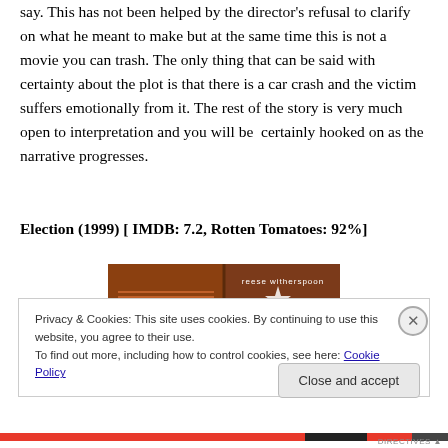say. This has not been helped by the director's refusal to clarify on what he meant to make but at the same time this is not a movie you can trash. The only thing that can be said with certainty about the plot is that there is a car crash and the victim suffers emotionally from it. The rest of the story is very much open to interpretation and you will be  certainly hooked on as the narrative progresses.
Election (1999) [ IMDB: 7.2, Rotten Tomatoes: 92%]
[Figure (photo): Movie poster/banner for Election (1999) showing 'matthew broderick' and 'reese witherspoon' text on an orange-brown background with a star graphic]
Privacy & Cookies: This site uses cookies. By continuing to use this website, you agree to their use.
To find out more, including how to control cookies, see here: Cookie Policy
Close and accept